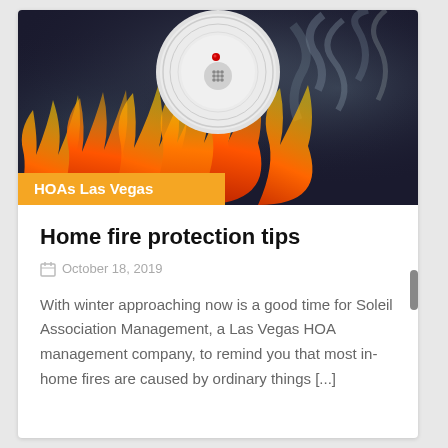[Figure (photo): Smoke detector against a dark background with fire and smoke, white circular device with red LED and speaker grille visible]
HOAs Las Vegas
Home fire protection tips
October 18, 2019
With winter approaching now is a good time for Soleil Association Management, a Las Vegas HOA management company, to remind you that most in-home fires are caused by ordinary things [...]